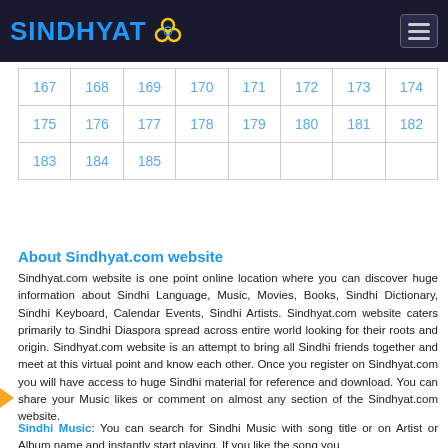SINDHYAT (logo with flower icon) — navigation header
| 167 | 168 | 169 | 170 | 171 | 172 | 173 | 174 |
| 175 | 176 | 177 | 178 | 179 | 180 | 181 | 182 |
| 183 | 184 | 185 |
About Sindhyat.com website
Sindhyat.com website is one point online location where you can discover huge information about Sindhi Language, Music, Movies, Books, Sindhi Dictionary, Sindhi Keyboard, Calendar Events, Sindhi Artists. Sindhyat.com website caters primarily to Sindhi Diaspora spread across entire world looking for their roots and origin. Sindhyat.com website is an attempt to bring all Sindhi friends together and meet at this virtual point and know each other. Once you register on Sindhyat.com you will have access to huge Sindhi material for reference and download. You can share your Music likes or comment on almost any section of the Sindhyat.com website.
Sindhi Music: You can search for Sindhi Music with song title or on Artist or Album name and instantly start playing. If you like the song you